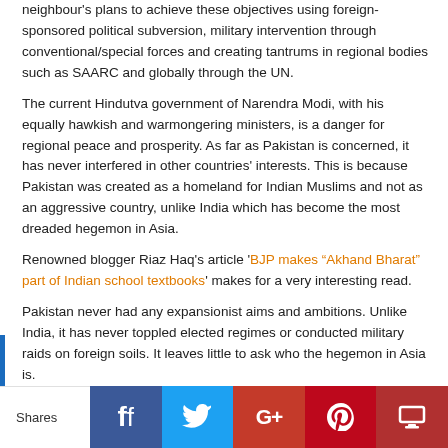neighbour's plans to achieve these objectives using foreign-sponsored political subversion, military intervention through conventional/special forces and creating tantrums in regional bodies such as SAARC and globally through the UN.
The current Hindutva government of Narendra Modi, with his equally hawkish and warmongering ministers, is a danger for regional peace and prosperity. As far as Pakistan is concerned, it has never interfered in other countries' interests. This is because Pakistan was created as a homeland for Indian Muslims and not as an aggressive country, unlike India which has become the most dreaded hegemon in Asia.
Renowned blogger Riaz Haq's article 'BJP makes “Akhand Bharat” part of Indian school textbooks' makes for a very interesting read.
Pakistan never had any expansionist aims and ambitions. Unlike India, it has never toppled elected regimes or conducted military raids on foreign soils. It leaves little to ask who the hegemon in Asia is.
Sooner or later, countries affected by India will have to unite
Shares | f | t | G+ | p | crown